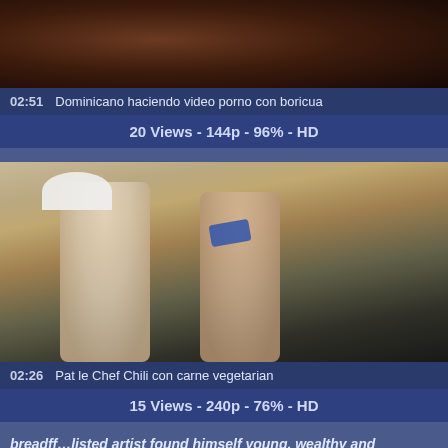[Figure (screenshot): Video thumbnail showing dark background, close-up image]
02:51   Dominicano haciendo video porno con boricua
20 Views - 144p - 96% - HD
[Figure (screenshot): Video thumbnail showing man in chef hat and woman in kitchen]
02:26   Pat le Chef Chili con carne vegetarian
15 Views - 240p - 76% - HD
breadff…listed artist found himself young, wealthy and